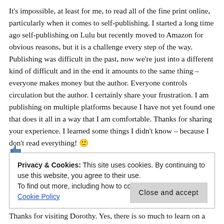It's impossible, at least for me, to read all of the fine print online, particularly when it comes to self-publishing. I started a long time ago self-publishing on Lulu but recently moved to Amazon for obvious reasons, but it is a challenge every step of the way. Publishing was difficult in the past, now we're just into a different kind of difficult and in the end it amounts to the same thing – everyone makes money but the author. Everyone controls circulation but the author. I certainly share your frustration. I am publishing on multiple platforms because I have not yet found one that does it all in a way that I am comfortable. Thanks for sharing your experience. I learned some things I didn't know – because I don't read everything! 🙂
[Figure (other): Partially visible like/thumbs-up icon at the bottom left of the comment, cut off]
Privacy & Cookies: This site uses cookies. By continuing to use this website, you agree to their use. To find out more, including how to control cookies, see here: Cookie Policy
Close and accept
Thanks for visiting Dorothy. Yes, there is so much to learn on a